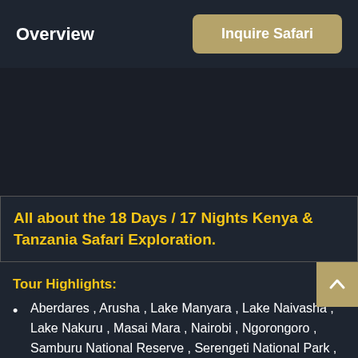Overview
Inquire Safari
[Figure (photo): Dark image area showing safari landscape]
All about the 18 Days / 17 Nights Kenya & Tanzania Safari Exploration.
Tour Highlights:
Aberdares , Arusha , Lake Manyara , Lake Naivasha , Lake Nakuru , Masai Mara , Nairobi , Ngorongoro , Samburu National Reserve , Serengeti National Park , Tarangire National Park.
Visit the Daphne Sheldrick Elephant Orphanage, the wor...